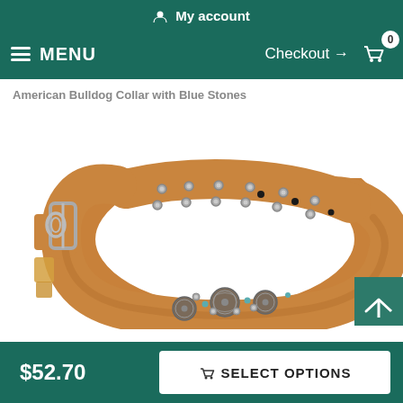My account
MENU   Checkout → 0
American Bulldog Collar with Blue Stones
[Figure (photo): A tan leather dog collar with metal buckle, silver eyelets, decorative round medallion embellishments, and small blue stone accents, laid flat on a white background.]
$52.70
SELECT OPTIONS